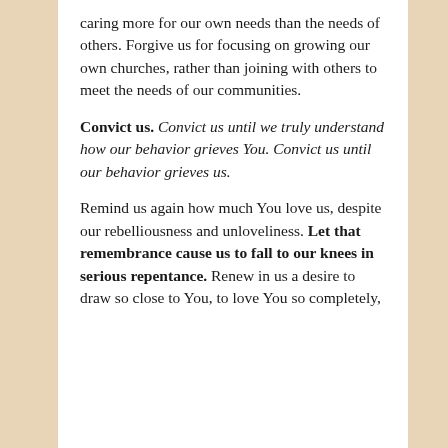caring more for our own needs than the needs of others. Forgive us for focusing on growing our own churches, rather than joining with others to meet the needs of our communities.
Convict us. Convict us until we truly understand how our behavior grieves You. Convict us until our behavior grieves us.
Remind us again how much You love us, despite our rebelliousness and unloveliness. Let that remembrance cause us to fall to our knees in serious repentance. Renew in us a desire to draw so close to You, to love You so completely,